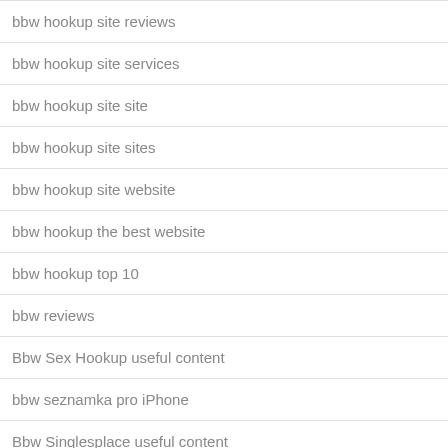bbw hookup site reviews
bbw hookup site services
bbw hookup site site
bbw hookup site sites
bbw hookup site website
bbw hookup the best website
bbw hookup top 10
bbw reviews
Bbw Sex Hookup useful content
bbw seznamka pro iPhone
Bbw Singlesplace useful content